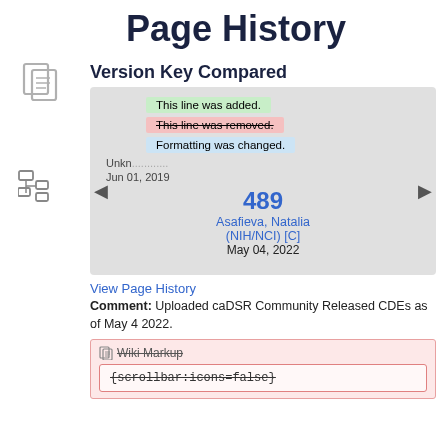[Figure (illustration): Document/page icon in gray]
[Figure (illustration): Tree/hierarchy icon in gray]
Page History
Version Key Compared
This line was added. (green background)
This line was removed. (pink, strikethrough)
Formatting was changed. (blue background)
Unkn... Jun 01, 2019
489
Asafieva, Natalia (NIH/NCI) [C]
May 04, 2022
View Page History
Comment: Uploaded caDSR Community Released CDEs as of May 4 2022.
Wiki Markup
{scrollbar:icons=false}